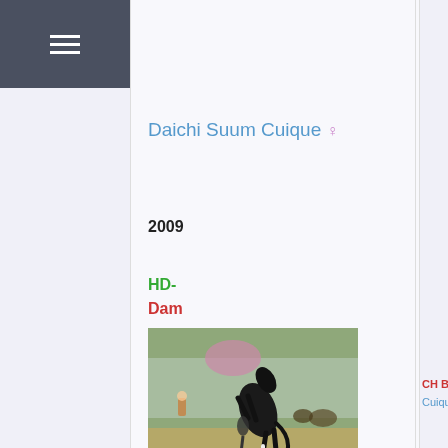[Figure (other): Hamburger/menu icon in dark grey header on left sidebar]
Daichi Suum Cuique ♀
2009
HD-
Dam
[Figure (photo): A dark horse rearing up at an outdoor show or event, with spectators and a marquee tent in the background]
CH BIH Anastasia S Cuique ♀